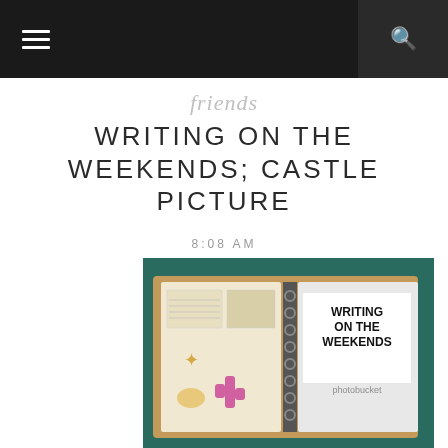Navigation bar with menu and search buttons
friends
WRITING ON THE WEEKENDS; CASTLE PICTURE
8:08 AM
[Figure (photo): A photo of a spiral-bound notebook/scrapbook open on a teal/green background. The right page has bold black-on-white text reading 'WRITING ON THE WEEKENDS'. The left page has envelopes, notes, and decorative items including a starfish, a shell, and a pink cactus figure. A 'photobucket' watermark is visible.]